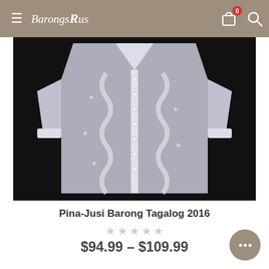BarongsRus — navigation header with menu, logo, cart (0), search
[Figure (photo): Pina-Jusi Barong Tagalog shirt, translucent white fabric with intricate embroidery down the front placket, photographed against black background]
Pina-Jusi Barong Tagalog 2016
★★★★★ (empty stars rating)
$94.99 – $109.99